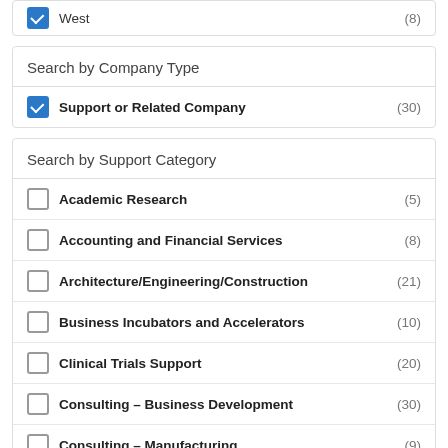West (8)
Search by Company Type
Support or Related Company (30)
Search by Support Category
Academic Research (5)
Accounting and Financial Services (8)
Architecture/Engineering/Construction (21)
Business Incubators and Accelerators (10)
Clinical Trials Support (20)
Consulting – Business Development (30)
Consulting – Manufacturing (9)
Consulting – Regulatory (9)